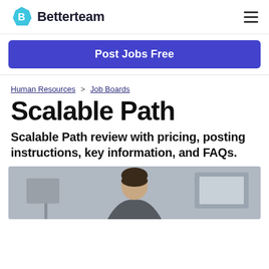Betterteam
Post Jobs Free
Human Resources > Job Boards
Scalable Path
Scalable Path review with pricing, posting instructions, key information, and FAQs.
[Figure (photo): Photo of a person working at a computer, seen from behind/side, blurred background]